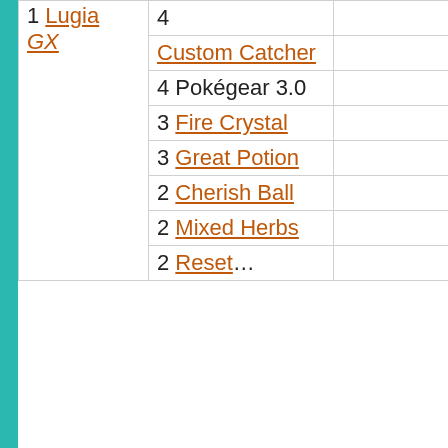| 1 Lugia GX | 4 |  |
|  | Custom Catcher |  |
|  | 4 Pokégear 3.0 |  |
|  | 3 Fire Crystal |  |
|  | 3 Great Potion |  |
|  | 2 Cherish Ball |  |
|  | 2 Mixed Herbs |  |
|  | 2 Reset... |  |